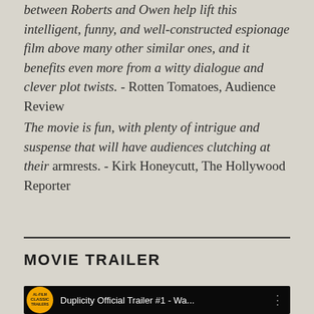between Roberts and Owen help lift this intelligent, funny, and well-constructed espionage film above many other similar ones, and it benefits even more from a witty dialogue and clever plot twists. - Rotten Tomatoes, Audience Review
The movie is fun, with plenty of intrigue and suspense that will have audiences clutching at their armrests. - Kirk Honeycutt, The Hollywood Reporter
MOVIE TRAILER
[Figure (screenshot): Duplicity Official Trailer #1 - Wa... video thumbnail with Classic Trailers logo on dark background]